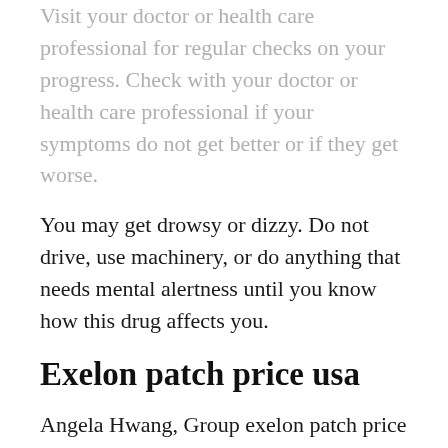Visit your doctor or health care professional for regular checks on your progress. Check with your doctor or health care professional if your symptoms do not get better or if they get worse.
You may get drowsy or dizzy. Do not drive, use machinery, or do anything that needs mental alertness until you know how this drug affects you.
Exelon patch price usa
Angela Hwang, Group exelon patch price usa President, Pfizer Biopharmaceuticals Group exelon energy co. The UK Medicines and Healthcare products Regulatory Agency (MHRA) granted Great Britain marketing authorization for CIBINQO earlier this month. In addition, to learn more, please visit us on www. Angela Hwang, Group President, Pfizer